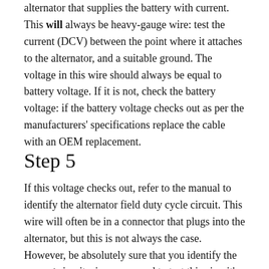alternator that supplies the battery with current. This will always be heavy-gauge wire: test the current (DCV) between the point where it attaches to the alternator, and a suitable ground. The voltage in this wire should always be equal to battery voltage. If it is not, check the battery voltage: if the battery voltage checks out as per the manufacturers' specifications replace the cable with an OEM replacement.
Step 5
If this voltage checks out, refer to the manual to identify the alternator field duty cycle circuit. This wire will often be in a connector that plugs into the alternator, but this is not always the case.  However, be absolutely sure that you identify the correct circuit, since you need to test this circuit's resistance and continuity between